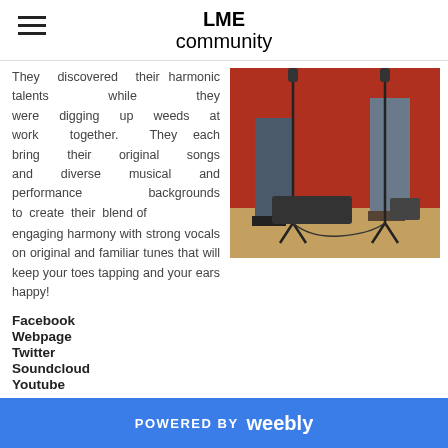LME community
They discovered their harmonic talents while they were digging up weeds at work together. They each bring their original songs and diverse musical and performance backgrounds to create their blend of engaging harmony with strong vocals on original and familiar tunes that will keep your toes tapping and your ears happy!
[Figure (photo): Two musicians standing with microphone stands in front of a red wall, legs and lower bodies visible, with cables on floor]
Facebook
Webpage
Twitter
Soundcloud
Youtube
POWERED BY weebly